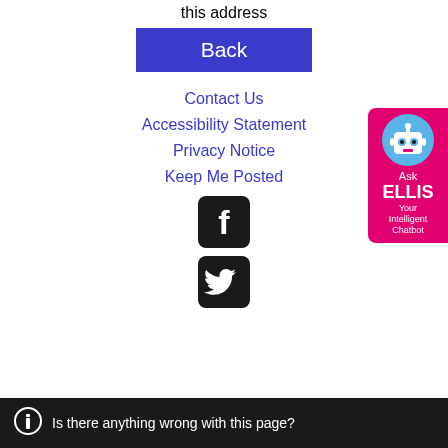this address
Back
Contact Us
Accessibility Statement
Privacy Notice
Keep Me Posted
[Figure (logo): Facebook icon - black rounded square with white F logo]
[Figure (logo): Twitter icon - black rounded square with white bird logo]
[Figure (illustration): Ask ELLIS chatbot widget - pink rounded rectangle with robot avatar and text 'Ask ELLIS Your Intelligent Chatbot']
Is there anything wrong with this page?